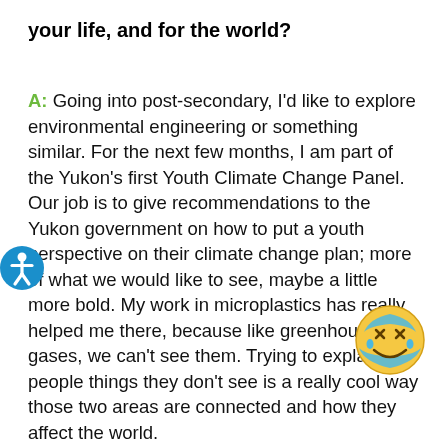your life, and for the world?
A: Going into post-secondary, I'd like to explore environmental engineering or something similar. For the next few months, I am part of the Yukon's first Youth Climate Change Panel. Our job is to give recommendations to the Yukon government on how to put a youth perspective on their climate change plan; more of what we would like to see, maybe a little more bold. My work in microplastics has really helped me there, because like greenhouse gases, we can't see them. Trying to explain to people things they don't see is a really cool way those two areas are connected and how they affect the world.